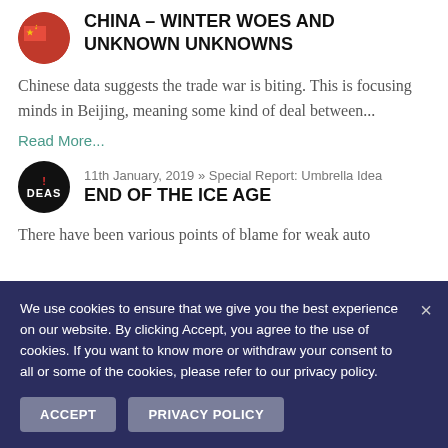[Figure (illustration): China flag circular icon]
CHINA – WINTER WOES AND UNKNOWN UNKNOWNS
Chinese data suggests the trade war is biting. This is focusing minds in Beijing, meaning some kind of deal between...
Read More...
[Figure (logo): !DEAS circular logo with red exclamation mark on black background]
11th January, 2019 » Special Report: Umbrella Idea
END OF THE ICE AGE
There have been various points of blame for weak auto
We use cookies to ensure that we give you the best experience on our website. By clicking Accept, you agree to the use of cookies. If you want to know more or withdraw your consent to all or some of the cookies, please refer to our privacy policy.